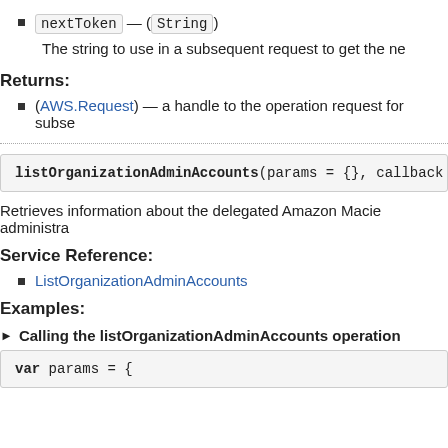nextToken — (String)
The string to use in a subsequent request to get the ne
Returns:
(AWS.Request) — a handle to the operation request for subse
listOrganizationAdminAccounts(params = {}, callback
Retrieves information about the delegated Amazon Macie administra
Service Reference:
ListOrganizationAdminAccounts
Examples:
Calling the listOrganizationAdminAccounts operation
var params = {